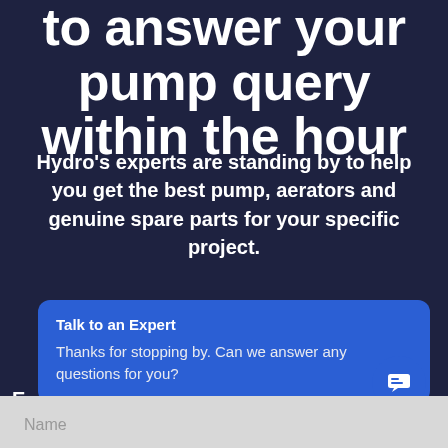to answer your pump query within the hour
Hydro's experts are standing by to help you get the best pump, aerators and genuine spare parts for your specific project.
[Figure (screenshot): Blue chat widget card with title 'Talk to an Expert' and message 'Thanks for stopping by. Can we answer any questions for you?']
[Figure (other): Blue circular chat bubble button with message/chat icon]
Name